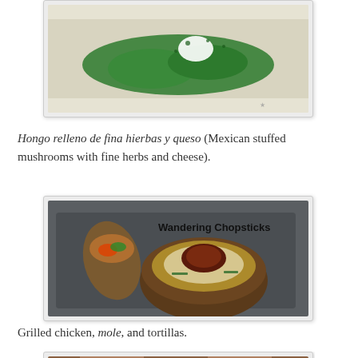[Figure (photo): Top portion of a photo showing green stuffed dish on a white plate with herbs and white cream/cheese topping, partially cropped at top of page.]
Hongo relleno de fina hierbas y queso (Mexican stuffed mushrooms with fine herbs and cheese).
[Figure (photo): Photo of a stuffed portobello mushroom topped with melted cheese and mole sauce, alongside a wrapped tortilla filled with vegetables on a dark slate board. Watermark reads 'Wandering Chopsticks'.]
Grilled chicken, mole, and tortillas.
[Figure (photo): Bottom portion of a photo partially visible at the bottom of the page, showing a food dish, cropped.]